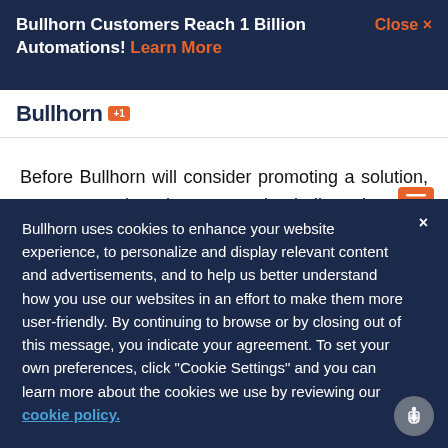Bullhorn Customers Reach 1 Billion Automations! Learn More   Close ×
Bullhorn (logo/nav)
Before Bullhorn will consider promoting a solution, we ensure that they are truly dedicated to the staffing industry. A requirement of joining this program is that the company's solution has been adopted by multiple mutual customers within staffing who are happy with
Bullhorn uses cookies to enhance your website experience, to personalize and display relevant content and advertisements, and to help us better understand how you use our websites in an effort to make them more user-friendly. By continuing to browse or by closing out of this message, you indicate your agreement. To set your own preferences, click "Cookie Settings" and you can learn more about the cookies we use by reviewing our cookie policy.